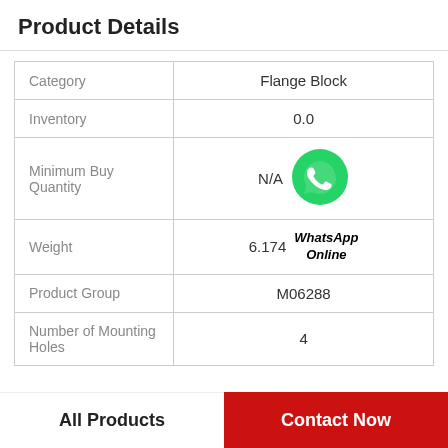Product Details
|  |  |
| --- | --- |
| Category | Flange Block |
| Inventory | 0.0 |
| Minimum Buy Quantity | N/A |
| Weight | 6.174 |
| Product Group | M06288 |
| Number of Mounting Holes | 4 |
[Figure (logo): WhatsApp Online green phone icon with text 'WhatsApp Online' in bold italic]
All Products   Contact Now